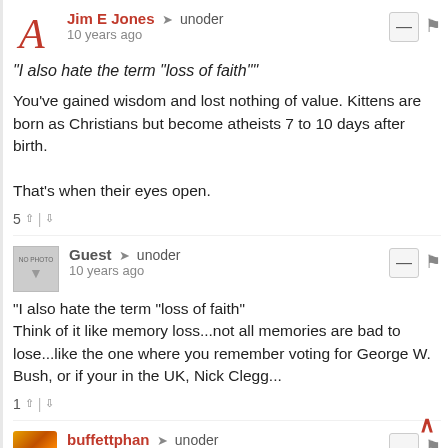Jim E Jones → unoder
10 years ago
"I also hate the term "loss of faith""
You've gained wisdom and lost nothing of value. Kittens are born as Christians but become atheists 7 to 10 days after birth.

That's when their eyes open.
5 ↑ | ↓
Guest → unoder
10 years ago
"I also hate the term "loss of faith"
Think of it like memory loss...not all memories are bad to lose...like the one where you remember voting for George W. Bush, or if your in the UK, Nick Clegg...
1 ↑ | ↓
buffettphan → unoder
10 years ago
"I also hate the term "loss of faith" -- Me too! Because I didn't lose anything -- I smartened up and kicked that